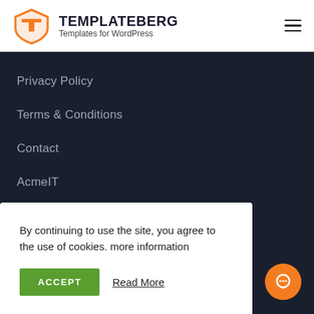TEMPLATEBERG - Templates for WordPress
Privacy Policy
Terms & Conditions
Contact
AcmeIT
Our Products
By continuing to use the site, you agree to the use of cookies. more information
ACCEPT  Read More